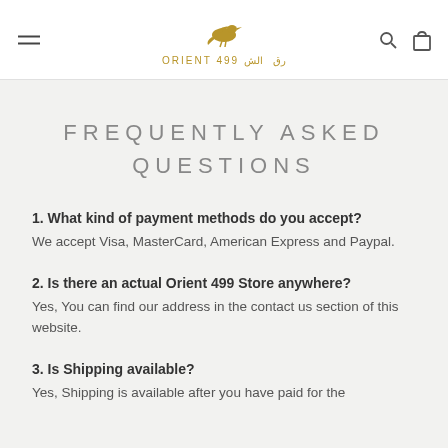ORIENT 499 الشرق — logo with bird icon, hamburger menu, search and cart icons
FREQUENTLY ASKED QUESTIONS
1. What kind of payment methods do you accept?
We accept Visa, MasterCard, American Express and Paypal.
2. Is there an actual Orient 499 Store anywhere?
Yes, You can find our address in the contact us section of this website.
3. Is Shipping available?
Yes, Shipping is available after you have paid for the